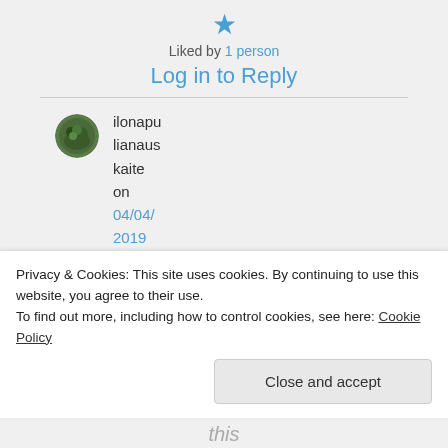Liked by 1 person
Log in to Reply
ilonapulianauskaite on 04/04/2019 at 21:06
Privacy & Cookies: This site uses cookies. By continuing to use this website, you agree to their use. To find out more, including how to control cookies, see here: Cookie Policy
Close and accept
this